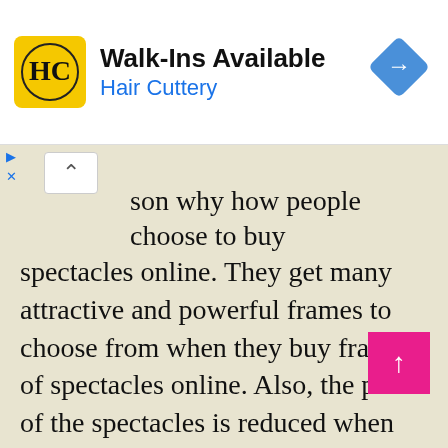[Figure (other): Hair Cuttery advertisement banner with yellow logo, Walk-Ins Available text, and blue navigation arrow diamond icon]
son why how people choose to buy spectacles online. They get many attractive and powerful frames to choose from when they buy frames of spectacles online. Also, the price of the spectacles is reduced when compared to the market price. This is the reason why most girls now buy their frames online from different stores.
Now frames for women are being